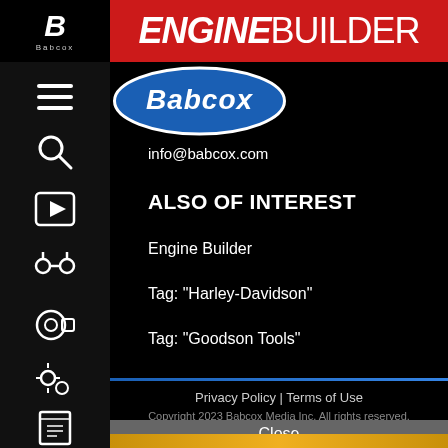ENGINE BUILDER
[Figure (logo): Babcox oval blue logo with white italic text 'Babcox']
info@babcox.com
ALSO OF INTEREST
Engine Builder
Tag: "Harley-Davidson"
Tag: "Goodson Tools"
Privacy Policy | Terms of Use
Copyright 2023 Babcox Media Inc. All rights reserved.
Close